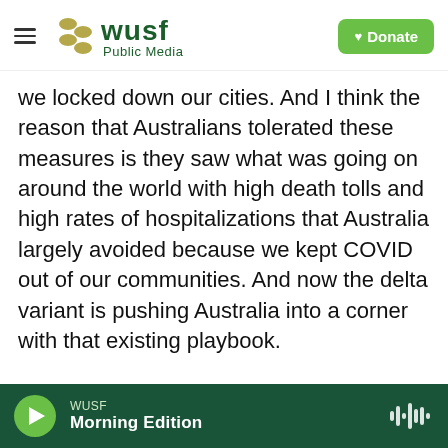WUSF Public Media | Donate
we locked down our cities. And I think the reason that Australians tolerated these measures is they saw what was going on around the world with high death tolls and high rates of hospitalizations that Australia largely avoided because we kept COVID out of our communities. And now the delta variant is pushing Australia into a corner with that existing playbook.
CHANG: Right. And it seems thousands of Australians now have just had enough, right? I mean, they are protesting lockdown measures on the streets of Sydney and elsewhere - in violation of
WUSF Morning Edition